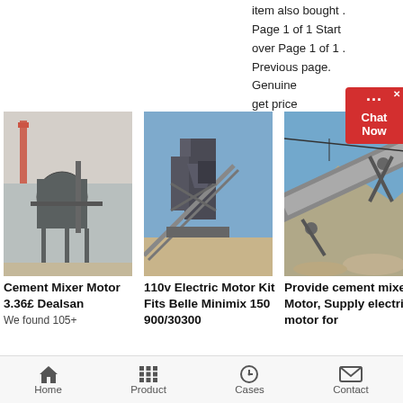item also bought . Page 1 of 1 Start over Page 1 of 1 . Previous page. Genuine get price
[Figure (photo): Industrial cement mixer plant with large cylindrical machinery and chimney stack]
[Figure (photo): 110v electric motor equipment on construction/mining site with conveyor and hopper]
[Figure (photo): Conveyor belt system at a mining or quarry site]
Cement Mixer Motor 3.36£ Dealsan
We found 105+
110v Electric Motor Kit Fits Belle Minimix 150 900/30300
Provide cement mixer Motor, Supply electric motor for
Home  Product  Cases  Contact